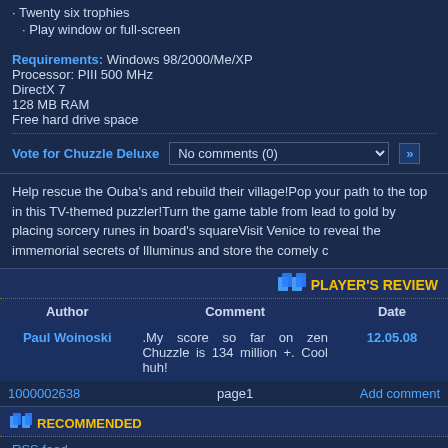· Twenty six trophies
· Play window or full-screen
Requirements: Windows 98/2000/Me/XP
Processor: PIII 500 MHz
DirectX 7
128 MB RAM
Free hard drive space
Vote for Chuzzle Deluxe   No comments (0)   >>
Help rescue the Ouba's and rebuild their village!Pop your path to the top in this TV-themed puzzler!Turn the game table from lead to gold by placing sorcery runes in board's squareVisit Venice to reveal the immemorial secrets of Illuminus and store the comely c
PLAYER'S REVIEW
| Author | Comment | Date |
| --- | --- | --- |
| Paul Woinoski | .My score so far on zen Chuzzle is 134 million +. Cool huh! | 12.05.08 |
| 1000002638 | page1 | Add comment |
RECOMMENDED
RSS feed